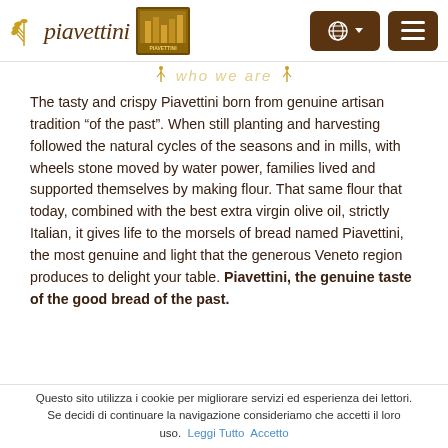piavettini [logo] [globe button] [menu button]
who we are
The tasty and crispy Piavettini born from genuine artisan tradition “of the past”. When still planting and harvesting followed the natural cycles of the seasons and in mills, with wheels stone moved by water power, families lived and supported themselves by making flour. That same flour that today, combined with the best extra virgin olive oil, strictly Italian, it gives life to the morsels of bread named Piavettini, the most genuine and light that the generous Veneto region produces to delight your table. Piavettini, the genuine taste of the good bread of the past.
Questo sito utilizza i cookie per migliorare servizi ed esperienza dei lettori. Se decidi di continuare la navigazione consideriamo che accetti il loro uso. Leggi Tutto  Accetto